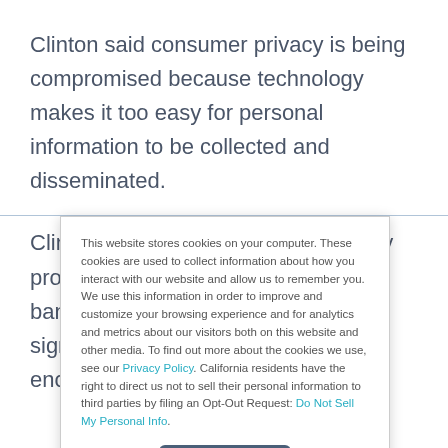Clinton said consumer privacy is being compromised because technology makes it too easy for personal information to be collected and disseminated.
Clinton contends that existing privacy protections — even those included in banking deregulation legislation he signed late last year — do not go far enough in preventing firms from
This website stores cookies on your computer. These cookies are used to collect information about how you interact with our website and allow us to remember you. We use this information in order to improve and customize your browsing experience and for analytics and metrics about our visitors both on this website and other media. To find out more about the cookies we use, see our Privacy Policy. California residents have the right to direct us not to sell their personal information to third parties by filing an Opt-Out Request: Do Not Sell My Personal Info.